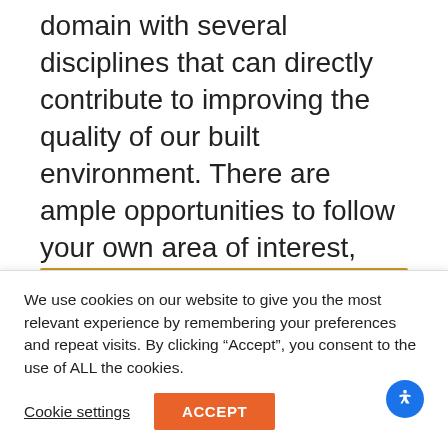domain with several disciplines that can directly contribute to improving the quality of our built environment. There are ample opportunities to follow your own area of interest, such as through focusing on theoretical or hands-on experimental work.
We use cookies on our website to give you the most relevant experience by remembering your preferences and repeat visits. By clicking “Accept”, you consent to the use of ALL the cookies.
Cookie settings
ACCEPT